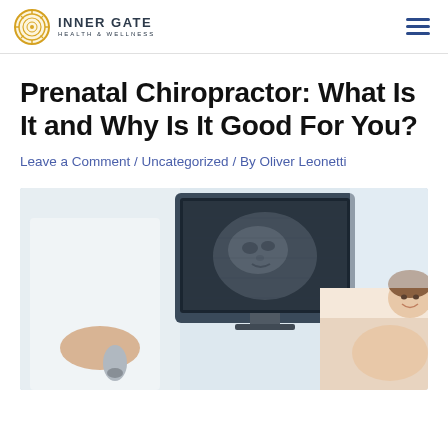INNER GATE HEALTH & WELLNESS
Prenatal Chiropractor: What Is It and Why Is It Good For You?
Leave a Comment / Uncategorized / By Oliver Leonetti
[Figure (photo): A medical professional performing an ultrasound on a pregnant woman, with an ultrasound monitor displaying a fetal image in the background.]